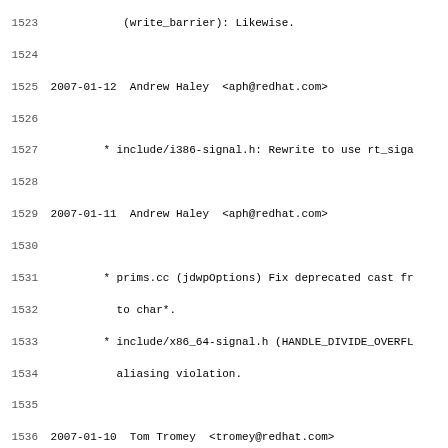1523    (write_barrier): Likewise.
1524
1525 2007-01-12  Andrew Haley  <aph@redhat.com>
1526
1527         * include/i386-signal.h: Rewrite to use rt_siga
1528
1529 2007-01-11  Andrew Haley  <aph@redhat.com>
1530
1531         * prims.cc (jdwpOptions) Fix deprecated cast fr
1532           to char*.
1533         * include/x86_64-signal.h (HANDLE_DIVIDE_OVERFL
1534           aliasing violation.
1535
1536 2007-01-10  Tom Tromey  <tromey@redhat.com>
1537
1538         * gnu/gcj/xlib/*.h: New files.
1539         * gnu/awt/xlib/*.h: Likewise.
1540         * classpath/lib/gnu/gcj/xlib: New class files.
1541         * classpath/lib/gnu/awt/xlib: Likewise.
1542
1543 2007-01-10  Tom Tromey  <tromey@redhat.com>
1544
1545         * HACKING: Various updates.
1546
1547 2007-01-10  Tom Tromey  <tromey@redhat.com>
1548
1549         * java/lang/natDouble.cc (toString): Added pare
1550         * gnu/gcj/io/shs.h (PROTO): Define.
1551         * link.cc (resolve_pool_entry): Added missing b
1552
1553 2007-01-10  H.J. Lu  <hongjiu.lu@intel.com>
1554